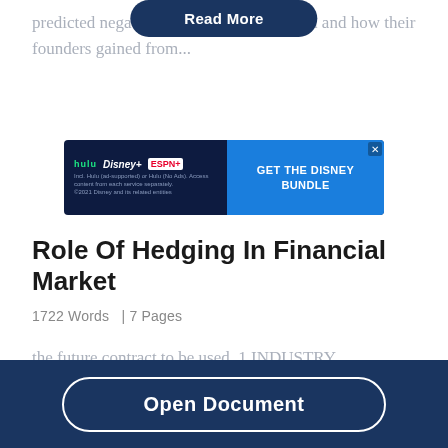predicted negatively about the hedge fund and how their founders gained from...
[Figure (other): Disney Bundle advertisement banner featuring Hulu, Disney+, and ESPN+ logos with 'GET THE DISNEY BUNDLE' call to action]
Role Of Hedging In Financial Market
1722 Words  | 7 Pages
the future contract to be used. 1 INDUSTRY
Open Document